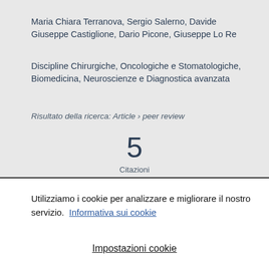Maria Chiara Terranova, Sergio Salerno, Davide Giuseppe Castiglione, Dario Picone, Giuseppe Lo Re
Discipline Chirurgiche, Oncologiche e Stomatologiche, Biomedicina, Neuroscienze e Diagnostica avanzata
Risultato della ricerca: Article › peer review
5
Citazioni
(Scopus)
Utilizziamo i cookie per analizzare e migliorare il nostro servizio.  Informativa sui cookie
Impostazioni cookie